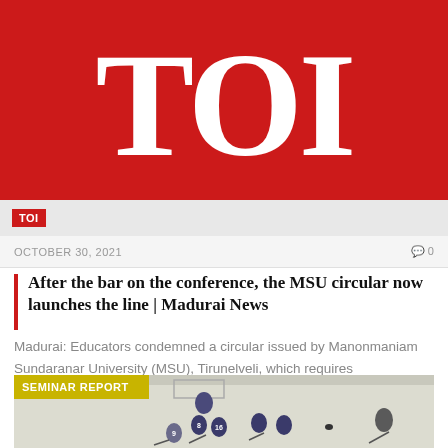TOI
TOI
OCTOBER 30, 2021  0
After the bar on the conference, the MSU circular now launches the line | Madurai News
Madurai: Educators condemned a circular issued by Manonmaniam Sundaranar University (MSU), Tirunelveli, which requires departments...
[Figure (photo): Children playing ice hockey on a rink with helmets and sticks, with a coach/adult standing to the right. A yellow 'SEMINAR REPORT' badge overlays the top-left of the image.]